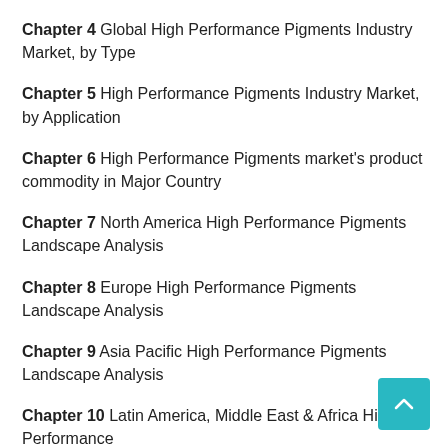Chapter 4 Global High Performance Pigments Industry Market, by Type
Chapter 5 High Performance Pigments Industry Market, by Application
Chapter 6 High Performance Pigments market's product commodity in Major Country
Chapter 7 North America High Performance Pigments Landscape Analysis
Chapter 8 Europe High Performance Pigments Landscape Analysis
Chapter 9 Asia Pacific High Performance Pigments Landscape Analysis
Chapter 10 Latin America, Middle East & Africa High Performance